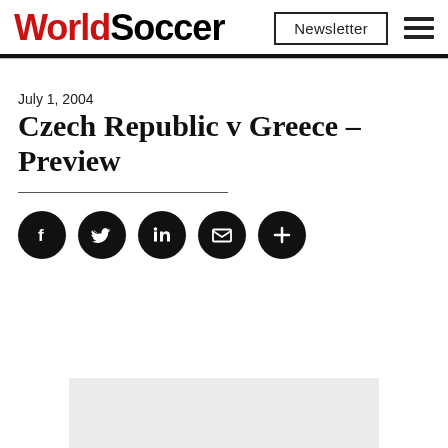WorldSoccer
July 1, 2004
Czech Republic v Greece – Preview
[Figure (other): Social sharing icons: Facebook, Twitter, LinkedIn, Email, More (+)]
[Figure (other): Advertisement placeholder box (light grey rectangle)]